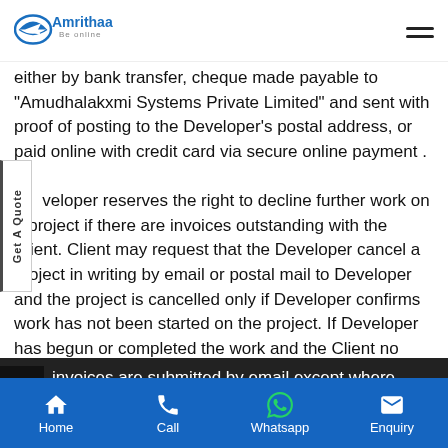Amrithaa - Be online
either by bank transfer, cheque made payable to "Amudhalakxmi Systems Private Limited" and sent with proof of posting to the Developer's postal address, or paid online with credit card via secure online payment .
Developer reserves the right to decline further work on a project if there are invoices outstanding with the Client. Client may request that the Developer cancel a project in writing by email or postal mail to Developer and the project is cancelled only if Developer confirms work has not been started on the project. If Developer has begun or completed the work and the Client no longer requires the files but have agreed to the work, they are still obliged to pay Developer for the work that has been carried out.
invoices are submitted by email except where required otherwise by regulations or agreed at Developer's
Home  Call  Whatsapp  Enquiry